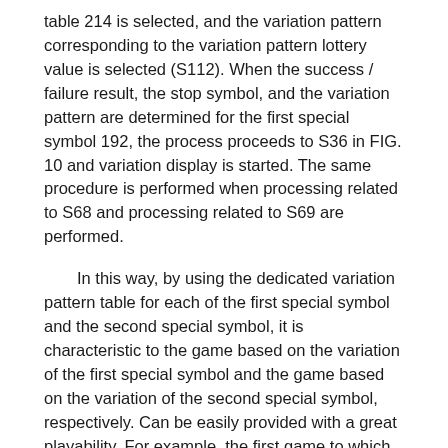table 214 is selected, and the variation pattern corresponding to the variation pattern lottery value is selected (S112). When the success / failure result, the stop symbol, and the variation pattern are determined for the first special symbol 192, the process proceeds to S36 in FIG. 10 and variation display is started. The same procedure is performed when processing related to S68 and processing related to S69 are performed.
In this way, by using the dedicated variation pattern table for each of the first special symbol and the second special symbol, it is characteristic to the game based on the variation of the first special symbol and the game based on the variation of the second special symbol, respectively. Can be easily provided with a great playability. For example, the first game to which the first special symbol corresponds can be a game with a long variation pattern and a reach effect that is likely to occur. In addition, the second game to which the second special symbol corresponds can be a game with a short variation pattern and high display efficiency of the lottery result. In addition, a game based on the variation of the first special symbol and a game based on the variation of the second special